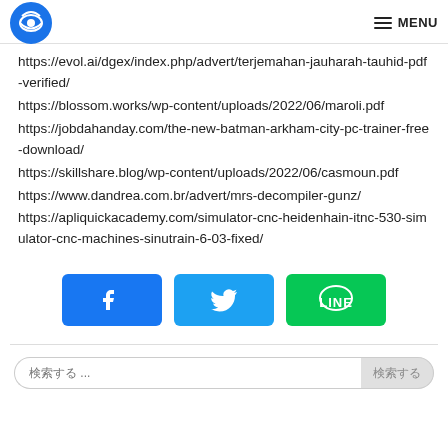Logo | MENU
https://evol.ai/dgex/index.php/advert/terjemahan-jauharah-tauhid-pdf-verified/
https://blossom.works/wp-content/uploads/2022/06/maroli.pdf
https://jobdahanday.com/the-new-batman-arkham-city-pc-trainer-free-download/
https://skillshare.blog/wp-content/uploads/2022/06/casmoun.pdf
https://www.dandrea.com.br/advert/mrs-decompiler-gunz/
https://apliquickacademy.com/simulator-cnc-heidenhain-itnc-530-simulator-cnc-machines-sinutrain-6-03-fixed/
[Figure (infographic): Social share buttons: Facebook (blue), Twitter (light blue), LINE (green)]
Search bar with placeholder text and submit button